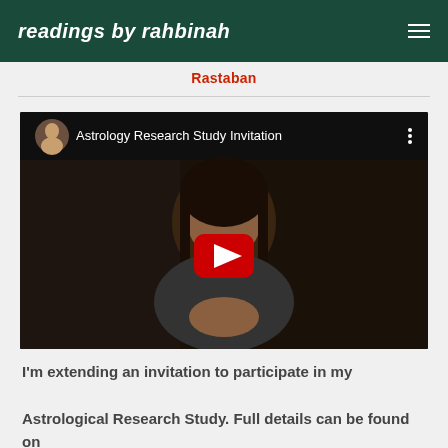readings by rahbinah
Rastaban
[Figure (screenshot): YouTube video embed titled 'Astrology Research Study Invitation' showing a woman talking to camera with a YouTube play button overlay]
I'm extending an invitation to participate in my Astrological Research Study. Full details can be found on